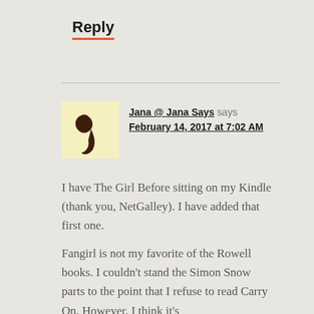Reply
Jana @ Jana Says says
February 14, 2017 at 7:02 AM
I have The Girl Before sitting on my Kindle (thank you, NetGalley). I have added that first one.
Fangirl is not my favorite of the Rowell books. I couldn't stand the Simon Snow parts to the point that I refuse to read Carry On. However, I think it's